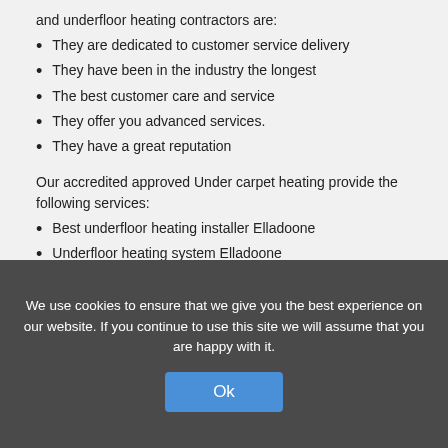and underfloor heating contractors are:
They are dedicated to customer service delivery
They have been in the industry the longest
The best customer care and service
They offer you advanced services.
They have a great reputation
Our accredited approved Under carpet heating provide the following services:
Best underfloor heating installer Elladoone
Underfloor heating system Elladoone
Home heating solutions Elladoone
Under carpet heating Elladoone
Underfloor heating price Elladoone
Un... Elladoone
...
...
[Figure (infographic): GET your QUOTE now! banner with green circle and yellow rounded rectangle]
We use cookies to ensure that we give you the best experience on our website. If you continue to use this site we will assume that you are happy with it. Ok